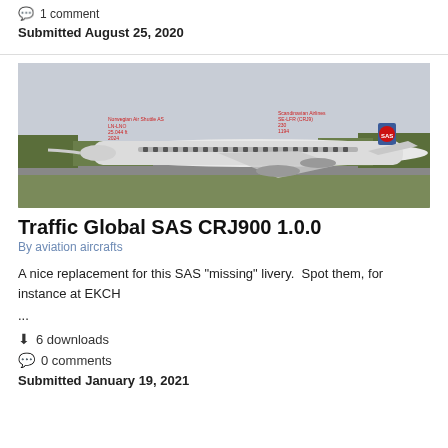💬 1 comment
Submitted August 25, 2020
[Figure (photo): SAS CRJ900 aircraft on tarmac, side view with trees in background, flight simulator screenshot with red text overlay showing aircraft data]
Traffic Global SAS CRJ900 1.0.0
By aviation aircrafts
A nice replacement for this SAS "missing" livery.  Spot them, for instance at EKCH
...
⬇ 6 downloads
💬 0 comments
Submitted January 19, 2021